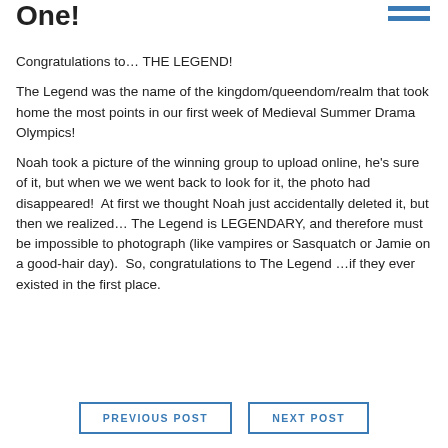One!
Congratulations to… THE LEGEND!
The Legend was the name of the kingdom/queendom/realm that took home the most points in our first week of Medieval Summer Drama Olympics!
Noah took a picture of the winning group to upload online, he's sure of it, but when we we went back to look for it, the photo had disappeared!  At first we thought Noah just accidentally deleted it, but then we realized… The Legend is LEGENDARY, and therefore must be impossible to photograph (like vampires or Sasquatch or Jamie on a good-hair day).  So, congratulations to The Legend …if they ever existed in the first place.
PREVIOUS POST
NEXT POST